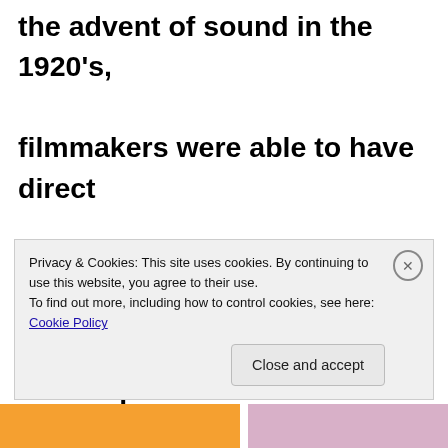the advent of sound in the 1920's, filmmakers were able to have direct control over the soundtrack as a device to manipulate the audience's emotions. The first film to use a completely original score was written by composer Max Steiner for the classic King Kong (1933)
Privacy & Cookies: This site uses cookies. By continuing to use this website, you agree to their use. To find out more, including how to control cookies, see here: Cookie Policy
Close and accept